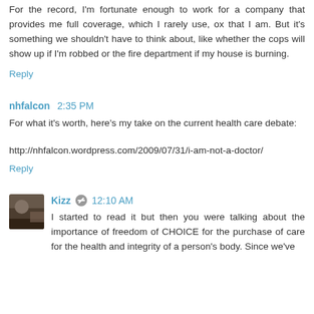For the record, I'm fortunate enough to work for a company that provides me full coverage, which I rarely use, ox that I am. But it's something we shouldn't have to think about, like whether the cops will show up if I'm robbed or the fire department if my house is burning.
Reply
nhfalcon  2:35 PM
For what it's worth, here's my take on the current health care debate:
http://nhfalcon.wordpress.com/2009/07/31/i-am-not-a-doctor/
Reply
Kizz  12:10 AM
I started to read it but then you were talking about the importance of freedom of CHOICE for the purchase of care for the health and integrity of a person's body. Since we've